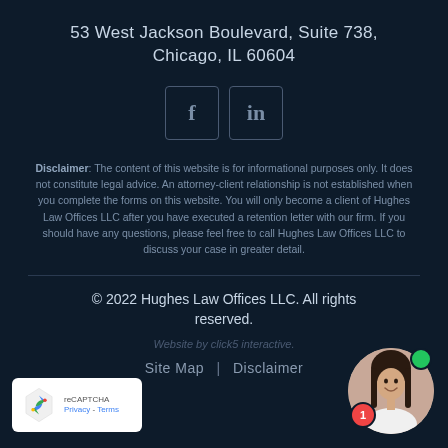53 West Jackson Boulevard, Suite 738, Chicago, IL 60604
[Figure (illustration): Social media icons: Facebook (f) and LinkedIn (in) in bordered square boxes]
Disclaimer: The content of this website is for informational purposes only. It does not constitute legal advice. An attorney-client relationship is not established when you complete the forms on this website. You will only become a client of Hughes Law Offices LLC after you have executed a retention letter with our firm. If you should have any questions, please feel free to call Hughes Law Offices LLC to discuss your case in greater detail.
© 2022 Hughes Law Offices LLC. All rights reserved.
Website by click5 interactive.
Site Map  |  Disclaimer
[Figure (logo): Google reCAPTCHA badge showing recycling-style arrows logo with Privacy - Terms text]
[Figure (photo): Circular profile photo of a smiling woman with dark hair, with a green online indicator dot and red notification badge showing 1]